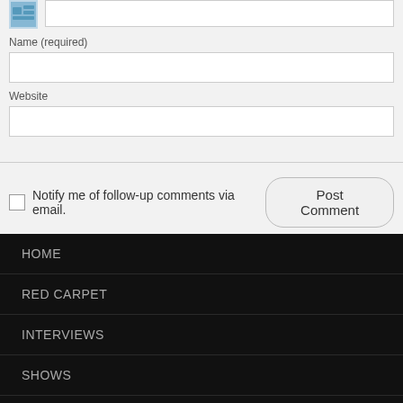[Figure (other): Avatar/CAPTCHA image thumbnail in blue]
Name (required)
Website
Notify me of follow-up comments via email.
HOME
RED CARPET
INTERVIEWS
SHOWS
MUSIC